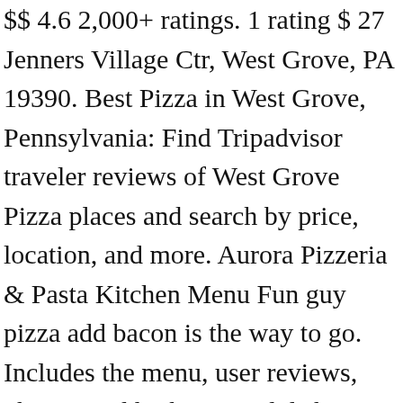$$ 4.6 2,000+ ratings. 1 rating $ 27 Jenners Village Ctr, West Grove, PA 19390. Best Pizza in West Grove, Pennsylvania: Find Tripadvisor traveler reviews of West Grove Pizza places and search by price, location, and more. Aurora Pizzeria & Pasta Kitchen Menu Fun guy pizza add bacon is the way to go. Includes the menu, user reviews, photos, and highest-rated dishes from Aurora Pizzeria & Pasta Ktchn. Specialties: Founded in January 2008, Aurora specializes in Italian American cuisine. Gluten Free $ 14. Save printable Aurora Pizzeria & Pasta Kitchen promo codes and discounts.